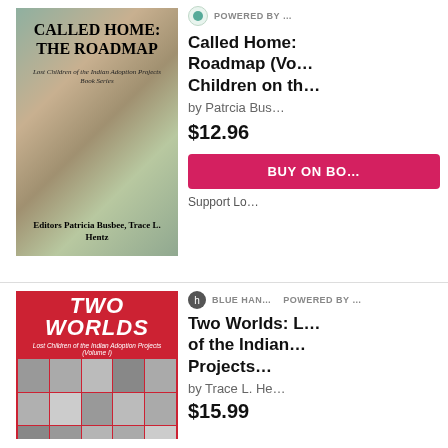[Figure (photo): Book cover for 'Called Home: The Roadmap' — Lost Children of the Indian Adoption Projects Book Series, Editors Patricia Busbee, Trace L. Hentz. Cover shows a map background.]
Called Home: The Roadmap (Vo... Children on th...
by Patrcia Bus...
$12.96
BUY ON BO...
Support Lo...
[Figure (photo): Book cover for 'Two Worlds' — Lost Children of the Indian Adoption Projects (Volume 1). Red cover with bold italic white title and a grid of black-and-white children's photos.]
Blue Han... POWERED BY ...
Two Worlds: L... of the Indian... Projects...
by Trace L. He...
$15.99